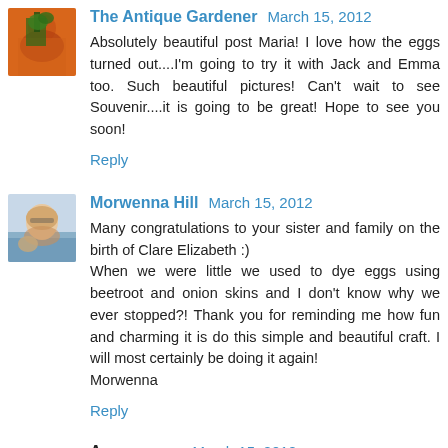[Figure (photo): Avatar image of The Antique Gardener, showing orange/red tones with a plant]
The Antique Gardener  March 15, 2012
Absolutely beautiful post Maria! I love how the eggs turned out....I'm going to try it with Jack and Emma too. Such beautiful pictures! Can't wait to see Souvenir....it is going to be great! Hope to see you soon!
Reply
[Figure (photo): Avatar image of Morwenna Hill, showing a person with sunglasses and a dog at the beach]
Morwenna Hill  March 15, 2012
Many congratulations to your sister and family on the birth of Clare Elizabeth :)
When we were little we used to dye eggs using beetroot and onion skins and I don't know why we ever stopped?! Thank you for reminding me how fun and charming it is do this simple and beautiful craft. I will most certainly be doing it again!
Morwenna
Reply
Anonymous  March 15, 2012